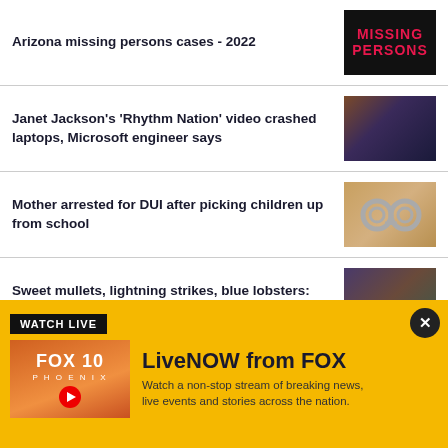Arizona missing persons cases - 2022
[Figure (illustration): MISSING PERSONS graphic with red text on black background]
Janet Jackson’s ‘Rhythm Nation’ video crashed laptops, Microsoft engineer says
[Figure (photo): Dark silhouette of a performer in dramatic lighting]
Mother arrested for DUI after picking children up from school
[Figure (photo): Metal handcuffs on a surface]
Sweet mullets, lightning strikes, blue lobsters: This week’s heartwarming, offbeat headlines
[Figure (photo): Photo collage of various people and scenes]
[Figure (screenshot): FOX 10 Phoenix LiveNOW advertisement banner with yellow background. WATCH LIVE label. LiveNOW from FOX heading. Watch a non-stop stream of breaking news, live events and stories across the nation.]